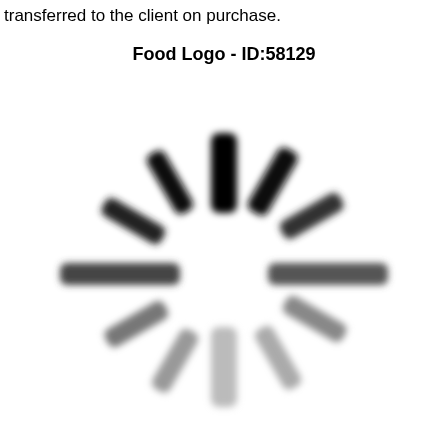transferred to the client on purchase.
Food Logo - ID:58129
[Figure (logo): A circular loading/spinner style logo composed of 12 rounded rectangular bars arranged radially around a center point, graduating in color from black at the top through dark gray to light gray, resembling a clock or loading indicator. The bars are blurred slightly.]